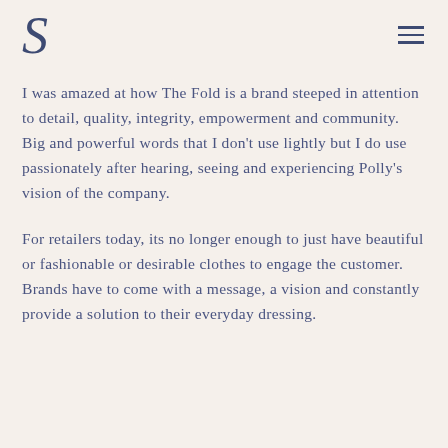S
I was amazed at how The Fold is a brand steeped in attention to detail, quality, integrity, empowerment and community. Big and powerful words that I don't use lightly but I do use passionately after hearing, seeing and experiencing Polly's vision of the company.
For retailers today, its no longer enough to just have beautiful or fashionable or desirable clothes to engage the customer. Brands have to come with a message, a vision and constantly provide a solution to their everyday dressing.